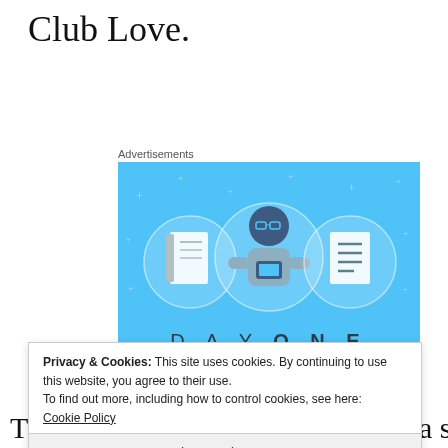Club Love.
Advertisements
[Figure (illustration): Day One journaling app advertisement on blue background. Three circular icons showing a notebook, a person using a phone, and a list/document. Text reads: DAY ONE - The only journaling app you'll ever need.]
Privacy & Cookies: This site uses cookies. By continuing to use this website, you agree to their use.
To find out more, including how to control cookies, see here:
Cookie Policy
Close and accept
The club can best be described as a small